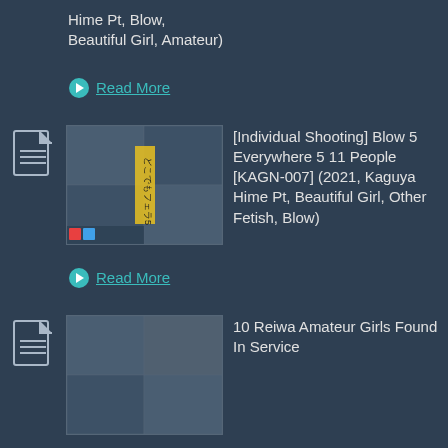Hime Pt, Blow, Beautiful Girl, Amateur)
Read More
[Figure (photo): DVD cover showing multiple women, Japanese text どこでもフェラ5]
[Individual Shooting] Blow 5 Everywhere 5 11 People [KAGN-007] (2021, Kaguya Hime Pt, Beautiful Girl, Other Fetish, Blow)
Read More
[Figure (photo): DVD cover thumbnail partially visible]
10 Reiwa Amateur Girls Found In Service